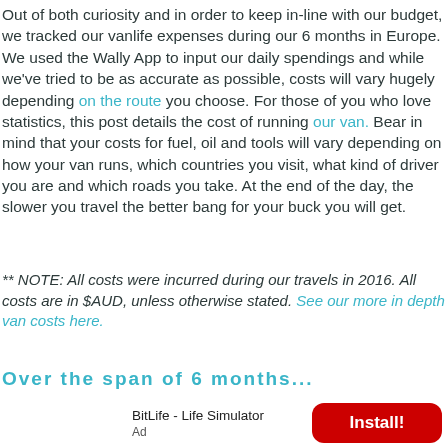Out of both curiosity and in order to keep in-line with our budget, we tracked our vanlife expenses during our 6 months in Europe. We used the Wally App to input our daily spendings and while we've tried to be as accurate as possible, costs will vary hugely depending on the route you choose. For those of you who love statistics, this post details the cost of running our van. Bear in mind that your costs for fuel, oil and tools will vary depending on how your van runs, which countries you visit, what kind of driver you are and which roads you take. At the end of the day, the slower you travel the better bang for your buck you will get.
** NOTE: All costs were incurred during our travels in 2016. All costs are in $AUD, unless otherwise stated. See our more in depth van costs here.
Over the span of 6 months...
[Figure (other): Advertisement banner for BitLife - Life Simulator app with an Install! button]